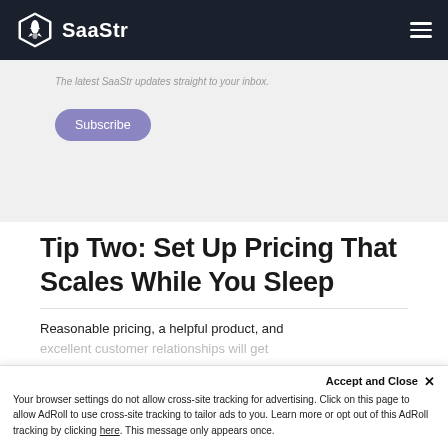SaaStr
The latest SaaStr updates straight to your inbox.
Subscribe
Tip Two: Set Up Pricing That Scales While You Sleep
Reasonable pricing, a helpful product, and excellent customer relationships will get
Accept and Close ✕ Your browser settings do not allow cross-site tracking for advertising. Click on this page to allow AdRoll to use cross-site tracking to tailor ads to you. Learn more or opt out of this AdRoll tracking by clicking here. This message only appears once.